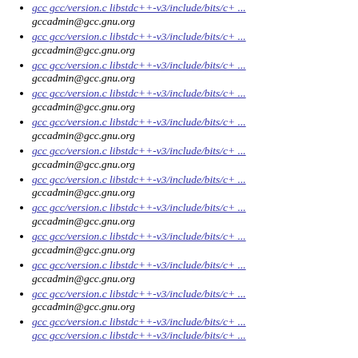gcc gcc/version.c libstdc++-v3/include/bits/c+ ...
gccadmin@gcc.gnu.org
gcc gcc/version.c libstdc++-v3/include/bits/c+ ...
gccadmin@gcc.gnu.org
gcc gcc/version.c libstdc++-v3/include/bits/c+ ...
gccadmin@gcc.gnu.org
gcc gcc/version.c libstdc++-v3/include/bits/c+ ...
gccadmin@gcc.gnu.org
gcc gcc/version.c libstdc++-v3/include/bits/c+ ...
gccadmin@gcc.gnu.org
gcc gcc/version.c libstdc++-v3/include/bits/c+ ...
gccadmin@gcc.gnu.org
gcc gcc/version.c libstdc++-v3/include/bits/c+ ...
gccadmin@gcc.gnu.org
gcc gcc/version.c libstdc++-v3/include/bits/c+ ...
gccadmin@gcc.gnu.org
gcc gcc/version.c libstdc++-v3/include/bits/c+ ...
gccadmin@gcc.gnu.org
gcc gcc/version.c libstdc++-v3/include/bits/c+ ...
gccadmin@gcc.gnu.org
gcc gcc/version.c libstdc++-v3/include/bits/c+ ...
gccadmin@gcc.gnu.org
gcc gcc/version.c libstdc++-v3/include/bits/c+ ...
gccadmin@gcc.gnu.org
gcc gcc/version.c libstdc++-v3/include/bits/c+ ...